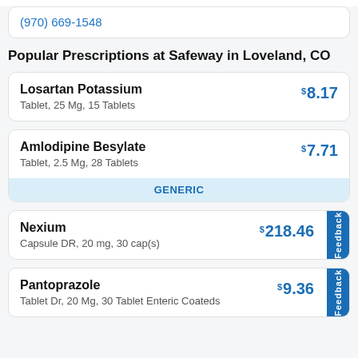(970) 669-1548
Popular Prescriptions at Safeway in Loveland, CO
| Drug | Price |
| --- | --- |
| Losartan Potassium
Tablet, 25 Mg, 15 Tablets | $8.17 |
| Amlodipine Besylate
Tablet, 2.5 Mg, 28 Tablets
GENERIC | $7.71 |
| Nexium
Capsule DR, 20 mg, 30 cap(s) | $218.46 |
| Pantoprazole
Tablet Dr, 20 Mg, 30 Tablet Enteric Coateds | $9.36 |